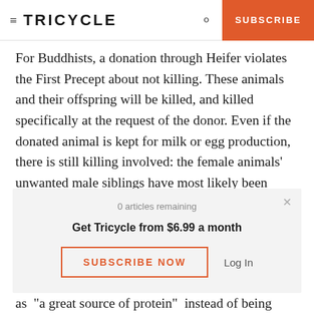TRICYCLE | SUBSCRIBE
For Buddhists, a donation through Heifer violates the First Precept about not killing. These animals and their offspring will be killed, and killed specifically at the request of the donor. Even if the donated animal is kept for milk or egg production, there is still killing involved: the female animals’ unwanted male siblings have most likely been slaughtered.
0 articles remaining
Get Tricycle from $6.99 a month
SUBSCRIBE NOW
Log In
as “a great source of protein” instead of being